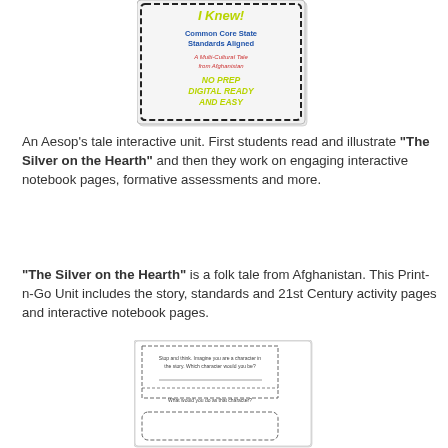[Figure (illustration): Book cover thumbnail for an Aesop's tale unit titled 'The Silver on the Hearth', Common Core State Standards Aligned, A Multi-Cultural Tale from Afghanistan, with decorative scalloped border]
An Aesop's tale interactive unit. First students read and illustrate "The Silver on the Hearth" and then they work on engaging interactive notebook pages, formative assessments and more.
"The Silver on the Hearth" is a folk tale from Afghanistan. This Print-n-Go Unit includes the story, standards and 21st Century activity pages and interactive notebook pages.
[Figure (illustration): Worksheet page thumbnail showing dashed border boxes with prompts: 'Stop and Think. Imagine you are a character in the story. Which character would you be?' and 'What would you do as that character?']